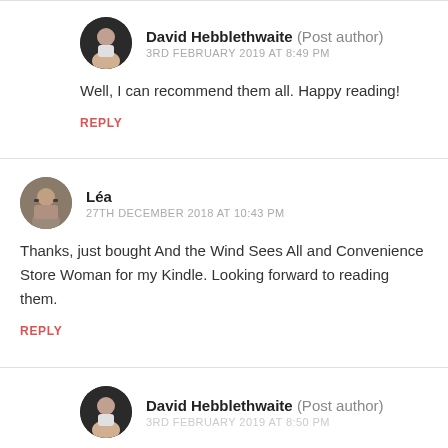David Hebblethwaite (Post author)
3RD FEBRUARY 2019 AT 8:49 PM
Well, I can recommend them all. Happy reading!
REPLY
Léa
27TH DECEMBER 2018 AT 10:43 PM
Thanks, just bought And the Wind Sees All and Convenience Store Woman for my Kindle. Looking forward to reading them.
REPLY
David Hebblethwaite (Post author)
3RD FEBRUARY 2019 AT 8:50 PM